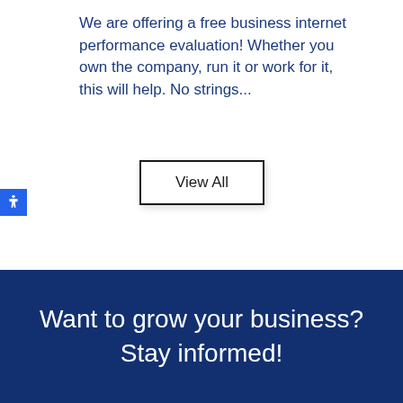We are offering a free business internet performance evaluation! Whether you own the company, run it or work for it, this will help. No strings...
View All
Want to grow your business? Stay informed!